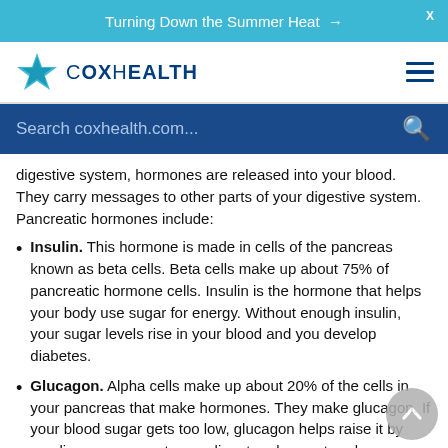Turning Down the Summer Heat →
[Figure (logo): CoxHealth logo with blue star and text]
Search coxhealth.com...
digestive system, hormones are released into your blood. They carry messages to other parts of your digestive system. Pancreatic hormones include:
Insulin. This hormone is made in cells of the pancreas known as beta cells. Beta cells make up about 75% of pancreatic hormone cells. Insulin is the hormone that helps your body use sugar for energy. Without enough insulin, your sugar levels rise in your blood and you develop diabetes.
Glucagon. Alpha cells make up about 20% of the cells in your pancreas that make hormones. They make glucagon. If your blood sugar gets too low, glucagon helps raise it by sending a message to your liver to release stored sugar.